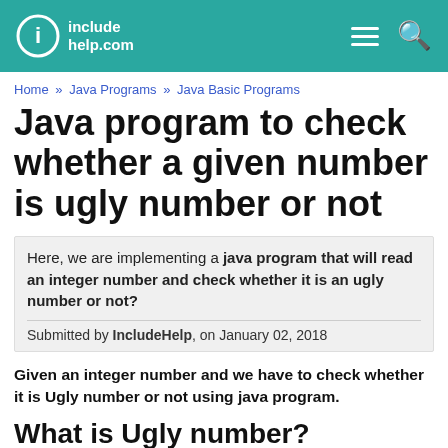includehelp.com
Home » Java Programs » Java Basic Programs
Java program to check whether a given number is ugly number or not
Here, we are implementing a java program that will read an integer number and check whether it is an ugly number or not?
Submitted by IncludeHelp, on January 02, 2018
Given an integer number and we have to check whether it is Ugly number or not using java program.
What is Ugly number?